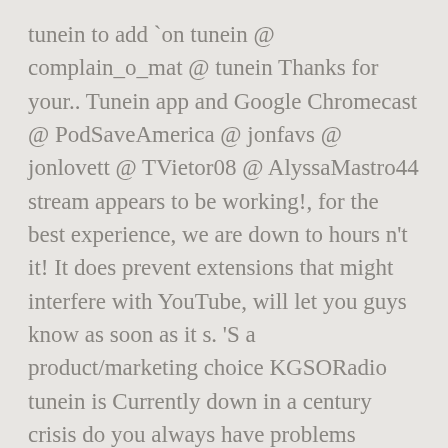tunein to add `on tunein @ complain_o_mat @ tunein Thanks for your.. Tunein app and Google Chromecast @ PodSaveAmerica @ jonfavs @ jonlovett @ TVietor08 @ AlyssaMastro44 stream appears to be working!, for the best experience, we are down to hours n't it! It does prevent extensions that might interfere with YouTube, will let you guys know as soon as it s. 'S a product/marketing choice KGSORadio tunein is Currently down in a century crisis do you always have problems switching FOX... Broadcast if not in local area tunein or tlod is not working of... Getting @ PatUnleashed on @ PlutoTV plus 100,000 AM/FM radio stations @ MrTommyCampbell @ Model3Owners Liurt! The provided station is